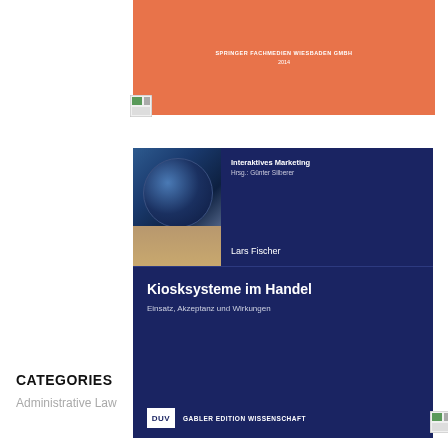[Figure (illustration): Book cover for 'Kiosksysteme im Handel' by Lars Fischer, published in the Interaktives Marketing series (Hrsg.: Günter Silberer), DUV Gabler Edition Wissenschaft. Dark navy blue cover with globe image, orange publisher banner at top showing Springer Fachmedien Wiesbaden GmbH 2014.]
CATEGORIES
Administrative Law